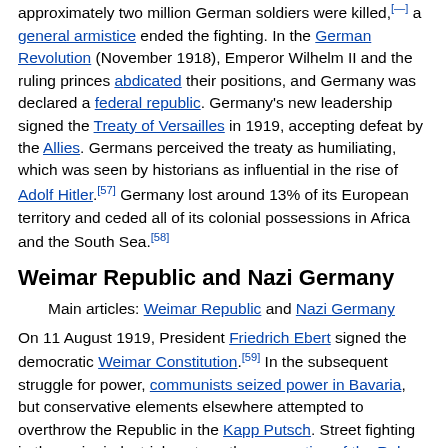approximately two million German soldiers were killed,[—] a general armistice ended the fighting. In the German Revolution (November 1918), Emperor Wilhelm II and the ruling princes abdicated their positions, and Germany was declared a federal republic. Germany's new leadership signed the Treaty of Versailles in 1919, accepting defeat by the Allies. Germans perceived the treaty as humiliating, which was seen by historians as influential in the rise of Adolf Hitler.[57] Germany lost around 13% of its European territory and ceded all of its colonial possessions in Africa and the South Sea.[58]
Weimar Republic and Nazi Germany
Main articles: Weimar Republic and Nazi Germany
On 11 August 1919, President Friedrich Ebert signed the democratic Weimar Constitution.[59] In the subsequent struggle for power, communists seized power in Bavaria, but conservative elements elsewhere attempted to overthrow the Republic in the Kapp Putsch. Street fighting in the major industrial centres, the occupation of the Ruhr by Belgian and French troops, and a period of hyperinflation followed. A debt restructuring plan and the creation of a new currency in 1924 ushered in the Golden Twenties, an era of artistic innovation and liberal cultural life.[60]